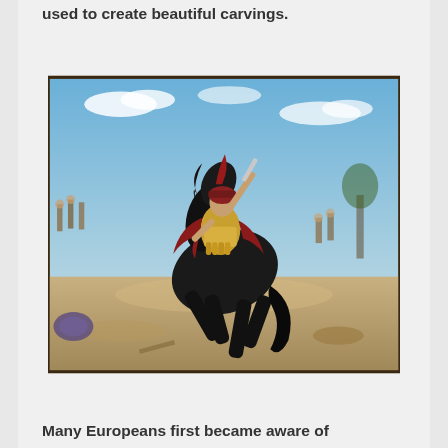used to create beautiful carvings.
[Figure (illustration): A painting depicting a warrior in Roman/Greek armor riding a rearing black horse in battle. The warrior holds a sword aloft and wears a red cape and golden breastplate. Other soldiers are visible in the background amid a dusty battlefield scene.]
Many Europeans first became aware of